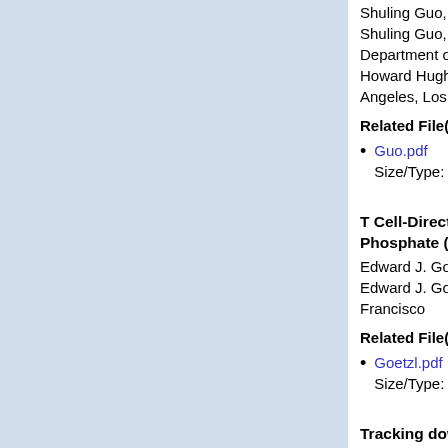Shuling Guo, Matthew I. Wahl, Mireille Rie...
Shuling Guo, Matthew I. Wahl, Mireille Rie...
Department of Microbiology, Immunology a...
Howard Hughes Medical Institute and Univ...
Angeles, Los Angeles, CA 90095
Related File(s):
Guo.pdf
Size/Type: 53.94 KB (application/pdf)
T Cell-Directed Immunoregulatory Effe...
Phosphate (S1P) ?
Edward J. Goetzl and Markus Graeler
Edward J. Goetzl and Markus Graeler Uni...
Francisco
Related File(s):
Goetzl.pdf
Size/Type: 24.67 KB (application/pdf)
Tracking down the thymocyte precurso...
cells.
Denise Gangadharan, Antoine Attinger, Lo...